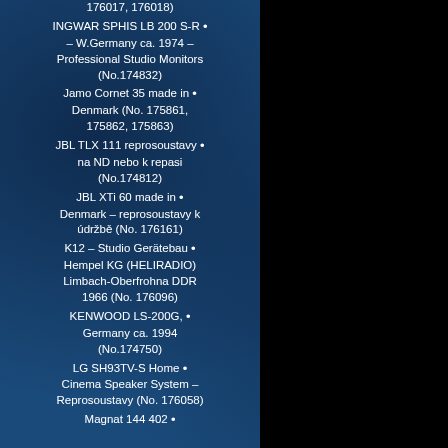176017, 176018)
INGWAR SPHIS LB 200 S-R • – W.Germany ca. 1974 – Professional Studio Monitors (No.174832)
Jamo Cornet 35 made in • Denmark (No. 175861, 175862, 175863)
JBL TLX 111 reprosoustavy • na ND nebo k repasi (No.174812)
JBL XTi 60 made in • Denmark – reprosoustavy k údržbě (No. 176161)
K12 – Studio Gerätebau • Hempel KG (HELIRADIO) Limbach-Oberfrohna DDR 1966 (No. 176096)
KENWOOD LS-200G, • Germany ca. 1994 (No.174750)
LG SH93TV-S Home • Cinema Speaker System – Reprosoustavy (No. 176058)
Magnat 144 402 •